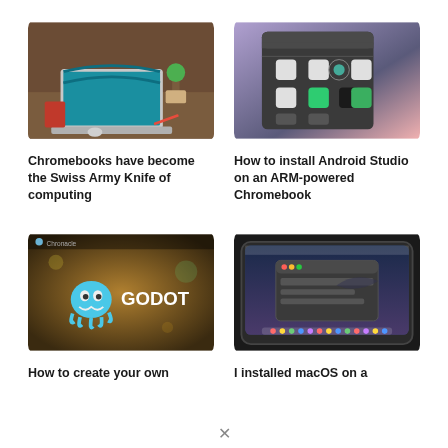[Figure (photo): Laptop open on a wooden desk with plant and accessories in background]
Chromebooks have become the Swiss Army Knife of computing
[Figure (screenshot): Android Studio app grid interface on a dark background with colorful app icons]
How to install Android Studio on an ARM-powered Chromebook
[Figure (screenshot): Chromebook screen showing Godot game engine logo and text on dark blurred background]
How to create your own
[Figure (screenshot): macOS installed on a Chromebook showing desktop with dock and system UI]
I installed macOS on a